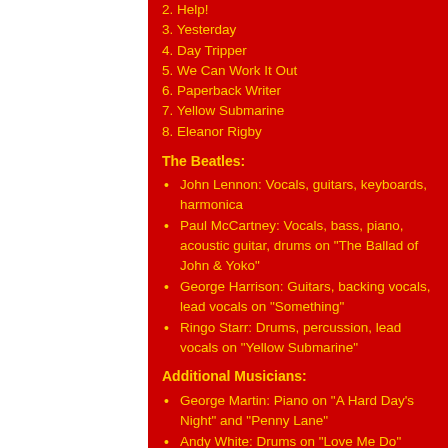2. Help!
3. Yesterday
4. Day Tripper
5. We Can Work It Out
6. Paperback Writer
7. Yellow Submarine
8. Eleanor Rigby
The Beatles:
John Lennon: Vocals, guitars, keyboards, harmonica
Paul McCartney: Vocals, bass, piano, acoustic guitar, drums on "The Ballad of John & Yoko"
George Harrison: Guitars, backing vocals, lead vocals on "Something"
Ringo Starr: Drums, percussion, lead vocals on "Yellow Submarine"
Additional Musicians:
George Martin: Piano on "A Hard Day's Night" and "Penny Lane"
Andy White: Drums on "Love Me Do"
Billy Preston: Organ on "Let it Be", Electric Piano on "Get Back"
Mal Evans: Bass drum on "Yellow